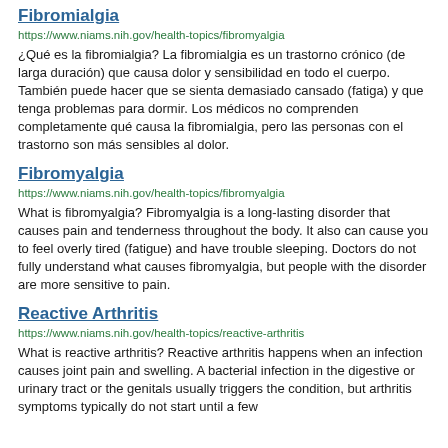Fibromialgia
https://www.niams.nih.gov/health-topics/fibromyalgia
¿Qué es la fibromialgia? La fibromialgia es un trastorno crónico (de larga duración) que causa dolor y sensibilidad en todo el cuerpo. También puede hacer que se sienta demasiado cansado (fatiga) y que tenga problemas para dormir. Los médicos no comprenden completamente qué causa la fibromialgia, pero las personas con el trastorno son más sensibles al dolor.
Fibromyalgia
https://www.niams.nih.gov/health-topics/fibromyalgia
What is fibromyalgia? Fibromyalgia is a long-lasting disorder that causes pain and tenderness throughout the body. It also can cause you to feel overly tired (fatigue) and have trouble sleeping. Doctors do not fully understand what causes fibromyalgia, but people with the disorder are more sensitive to pain.
Reactive Arthritis
https://www.niams.nih.gov/health-topics/reactive-arthritis
What is reactive arthritis? Reactive arthritis happens when an infection causes joint pain and swelling. A bacterial infection in the digestive or urinary tract or the genitals usually triggers the condition, but arthritis symptoms typically do not start until a few...